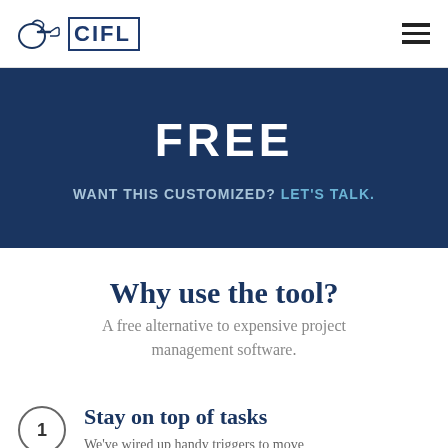CIFL
FREE
WANT THIS CUSTOMIZED? LET'S TALK.
Why use the tool?
A free alternative to expensive project management software.
1 Stay on top of tasks
We've wired up handy triggers to move